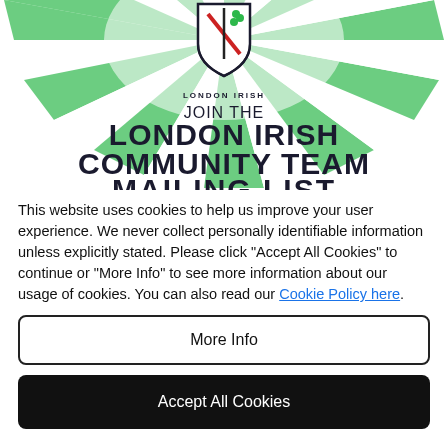[Figure (illustration): London Irish rugby club banner with green sunburst background, club crest/shield logo at top center with text LONDON IRISH below it, large bold text JOIN THE LONDON IRISH COMMUNITY TEAM MAILING LIST (partially cropped at bottom)]
This website uses cookies to help us improve your user experience. We never collect personally identifiable information unless explicitly stated. Please click "Accept All Cookies" to continue or "More Info" to see more information about our usage of cookies. You can also read our Cookie Policy here.
More Info
Accept All Cookies